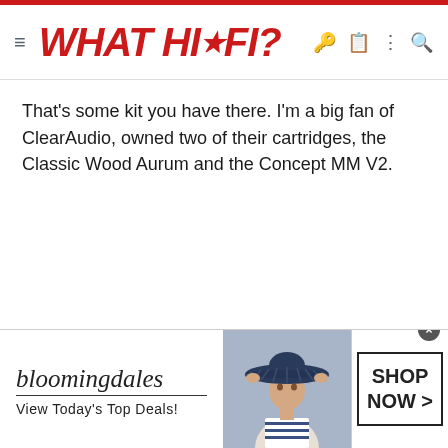WHAT HI-FI?
That's some kit you have there. I'm a big fan of ClearAudio, owned two of their cartridges, the Classic Wood Aurum and the Concept MM V2.
[Figure (illustration): Bloomingdales advertisement banner with a woman wearing a large navy hat, logo text 'bloomingdales View Today's Top Deals!' and a 'SHOP NOW >' call-to-action button]